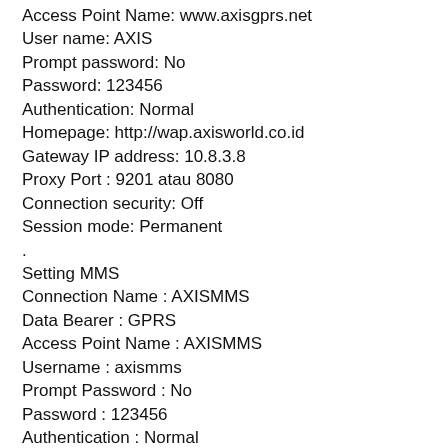Access Point Name: www.axisgprs.net
User name: AXIS
Prompt password: No
Password: 123456
Authentication: Normal
Homepage: http://wap.axisworld.co.id
Gateway IP address: 10.8.3.8
Proxy Port : 9201 atau 8080
Connection security: Off
Session mode: Permanent
.
Setting MMS
Connection Name : AXISMMS
Data Bearer : GPRS
Access Point Name : AXISMMS
Username : axismms
Prompt Password : No
Password : 123456
Authentication : Normal
Proxy address : 10.8.3.8
Homepage : http://mmsc.AXIS
Connection Security : Off